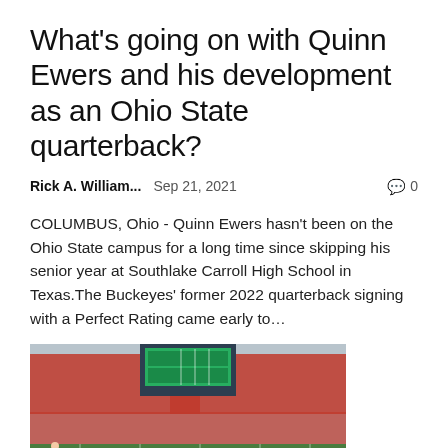What's going on with Quinn Ewers and his development as an Ohio State quarterback?
Rick A. William...   Sep 21, 2021   💬 0
COLUMBUS, Ohio - Quinn Ewers hasn't been on the Ohio State campus for a long time since skipping his senior year at Southlake Carroll High School in Texas.The Buckeyes' former 2022 quarterback signing with a Perfect Rating came early to...
[Figure (photo): Wide-angle photograph of a packed Ohio State football stadium with players on the field, a large scoreboard visible in the background, and a referee on the sideline in the foreground.]